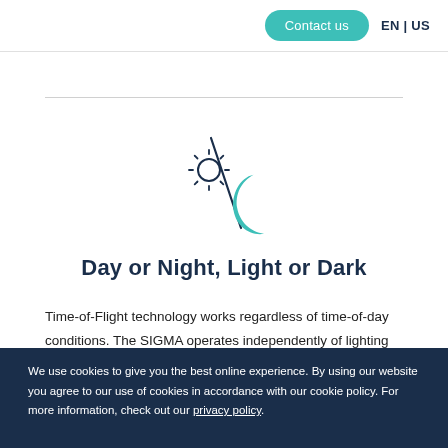Contact us  EN | US
[Figure (illustration): Sun and moon icon separated by a diagonal slash line. The sun is drawn in outline style (dark navy) on the upper left, the moon is a crescent shape filled with teal/green color on the lower right, and a diagonal line separates them.]
Day or Night, Light or Dark
Time-of-Flight technology works regardless of time-of-day conditions. The SIGMA operates independently of lighting conditions for accurate counting, 24/7.
We use cookies to give you the best online experience. By using our website you agree to our use of cookies in accordance with our cookie policy. For more information, check out our privacy policy.